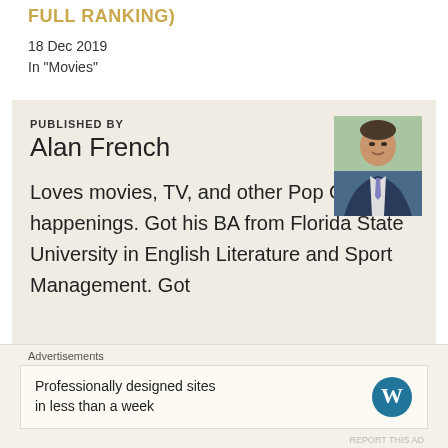FULL RANKING)
18 Dec 2019
In "Movies"
PUBLISHED BY
Alan French
[Figure (photo): Headshot photo of Alan French, a man in a dark suit and light tie, smiling, outdoors with green background]
Loves movies, TV, and other Pop Culture happenings. Got his BA from Florida State University in English Literature and Sport Management. Got
Advertisements
Professionally designed sites in less than a week